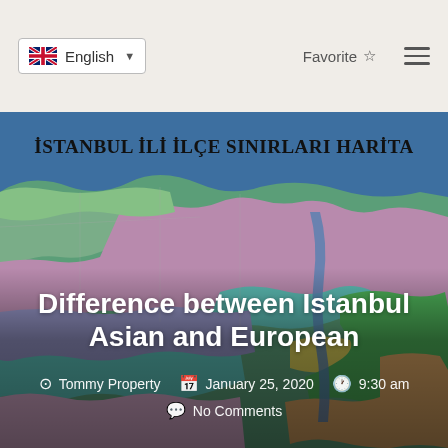English | Favorite | Menu
[Figure (map): Map of Istanbul district boundaries (İSTANBUL İLİ İLÇE SINIRLARI HARİTA) showing colored districts across European and Asian sides with blue sea areas.]
Difference between Istanbul Asian and European
Tommy Property   January 25, 2020   9:30 am   No Comments